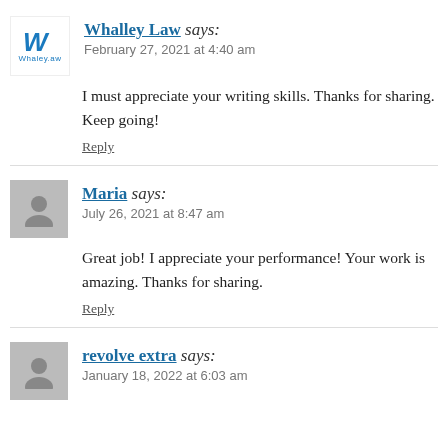Whalley Law says: February 27, 2021 at 4:40 am
I must appreciate your writing skills. Thanks for sharing. Keep going!
Reply
Maria says: July 26, 2021 at 8:47 am
Great job! I appreciate your performance! Your work is amazing. Thanks for sharing.
Reply
revolve extra says: January 18, 2022 at 6:03 am